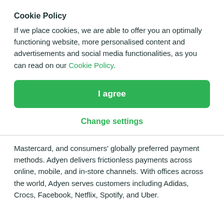Cookie Policy
If we place cookies, we are able to offer you an optimally functioning website, more personalised content and advertisements and social media functionalities, as you can read on our Cookie Policy.
I agree
Change settings
Mastercard, and consumers' globally preferred payment methods. Adyen delivers frictionless payments across online, mobile, and in-store channels. With offices across the world, Adyen serves customers including Adidas, Crocs, Facebook, Netflix, Spotify, and Uber.